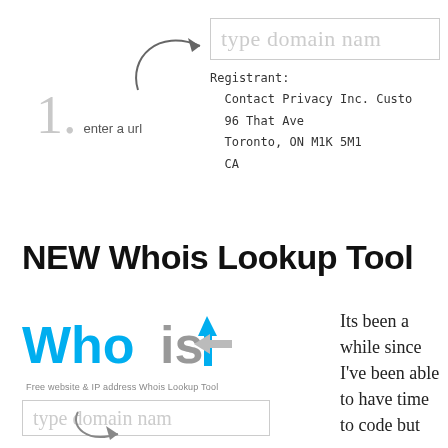[Figure (screenshot): Domain name input box with placeholder text 'type domain nam' at the top of the page]
[Figure (illustration): Hand-drawn curved arrow pointing right toward the input box]
1. enter a url
Registrant:
  Contact Privacy Inc. Custo
  96 That Ave
  Toronto, ON M1K 5M1
  CA
NEW Whois Lookup Tool
[Figure (logo): Whois logo with blue 'Who' text, grey 'is' text, and cyan/grey arrow icon. Tagline: Free website & IP address Whois Lookup Tool]
[Figure (screenshot): Second domain name input box with placeholder 'type domain nam']
[Figure (illustration): Second curved arrow pointing right]
Its been a while since I've been able to have time to code but